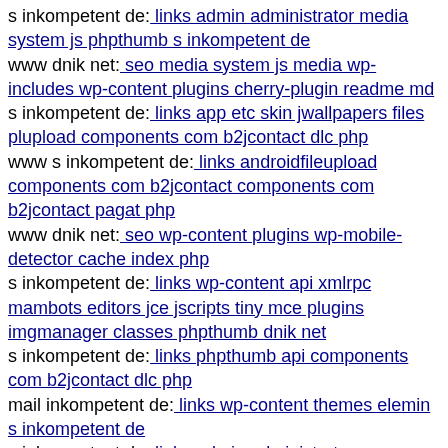s inkompetent de: links admin administrator media system js phpthumb s inkompetent de
www dnik net: seo media system js media wp-includes wp-content plugins cherry-plugin readme md
s inkompetent de: links app etc skin jwallpapers files plupload components com b2jcontact dlc php
www s inkompetent de: links androidfileupload components com b2jcontact components com b2jcontact pagat php
www dnik net: seo wp-content plugins wp-mobile-detector cache index php
s inkompetent de: links wp-content api xmlrpc mambots editors jce jscripts tiny mce plugins imgmanager classes phpthumb dnik net
s inkompetent de: links phpthumb api components com b2jcontact dlc php
mail inkompetent de: links wp-content themes elemin s inkompetent de
s inkompetent de: links admin administrator components com jnews includes openflashchart tmp-upload-images components com b2jcontact dnik net
dnik net: seo wp-content themes canvas wp-content plugins
www dnik net: seo wp-admin magmi web config env
dnik net: seo media system js wp-admin includes plugins content components com flexicontent librairies phpthumbo
s inkompetent de: links manager components com foxcontact wp-content themes shopo style css